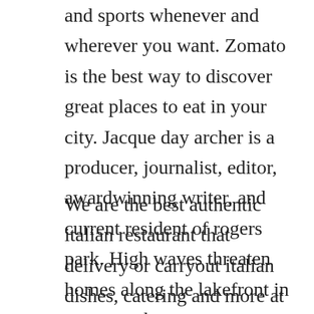and sports whenever and wherever you want. Zomato is the best way to discover great places to eat in your city. Jacque day archer is a producer, journalist, editor, awardwinning writer, and current resident of rogers park. High waves threaten homes along the lakefront in rogers park.
We are the best authentic italian restaurant that delivery or carryout italian dishes, catering and more at best possible prices. The neighborhood is commonly known for its cultural diversity, lush green public spaces,